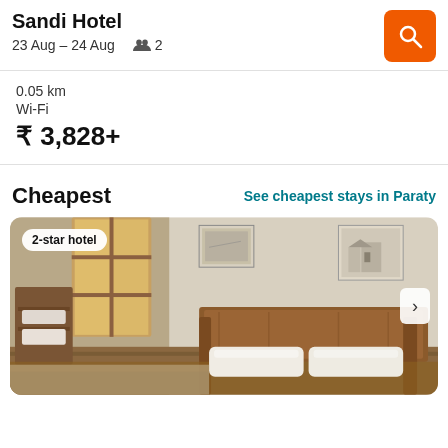Sandi Hotel
23 Aug – 24 Aug   2
0.05 km
Wi-Fi
₹ 3,828+
Cheapest
See cheapest stays in Paraty
[Figure (photo): Hotel room photo showing a double bed with white pillows, wooden headboard, wooden furniture/shelving on left, a window with wooden frames letting in light, paintings on the wall, and a small bedside lamp. Badge reads '2-star hotel'.]